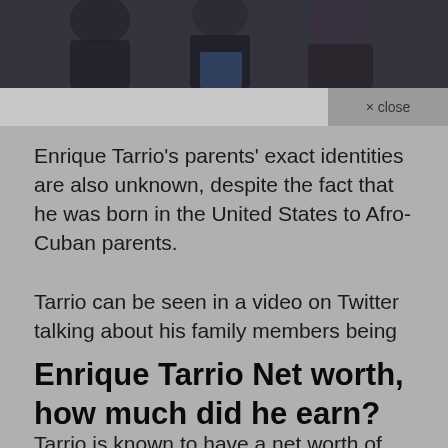[Figure (photo): Partial photo of people, dark toned image, cropped at top of page]
× close
Enrique Tarrio's parents' exact identities are also unknown, despite the fact that he was born in the United States to Afro-Cuban parents.
Tarrio can be seen in a video on Twitter talking about his family members being shot in Cuba for refusing to give up their land, which is embedded below.
Enrique Tarrio Net worth, how much did he earn?
Tarrio is known to have a net worth of $999K to $1 milli…